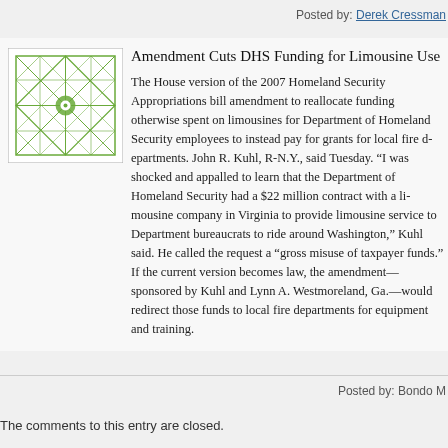Posted by: Derek Cressman
[Figure (logo): Green geometric pattern logo with diamond/star lattice design on white background]
Amendment Cuts DHS Funding for Limousine Use
The House version of the 2007 Homeland Security Appropriations bill amendment to reallocate funding otherwise spent on limousines for Department of Homeland Security employees to instead pay for grants for local fire departments. John R. Kuhl, R-N.Y., said Tuesday. "I was shocked and appalled to learn that the Department of Homeland Security had a $22 million contract with a limousine company in Virginia to provide limousine service to Department bureaucrats to ride around Washington," Kuhl said. He called the request a "gross misuse of taxpayer funds." If the current version becomes law, the amendment—sponsored by Kuhl and Lynn A. Westmoreland, Ga.—would redirect those funds to local fire departments for equipment and training.
Posted by: Bondo M
The comments to this entry are closed.